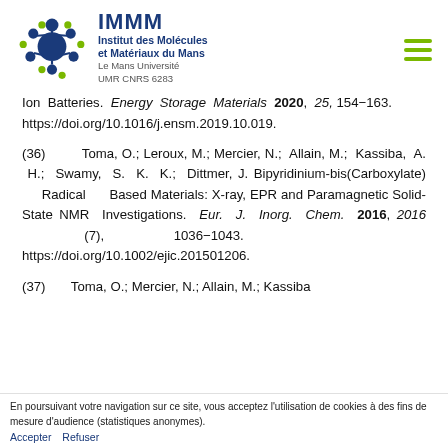[Figure (logo): IMMM Institut des Molécules et Matériaux du Mans logo with molecular structure icon, Le Mans Université, UMR CNRS 6283]
Ion Batteries. Energy Storage Materials 2020, 25, 154−163. https://doi.org/10.1016/j.ensm.2019.10.019.
(36)   Toma, O.; Leroux, M.; Mercier, N.; Allain, M.; Kassiba, A. H.; Swamy, S. K. K.; Dittmer, J. Bipyridinium-bis(Carboxylate) Radical Based Materials: X-ray, EPR and Paramagnetic Solid-State NMR Investigations. Eur. J. Inorg. Chem. 2016, 2016 (7), 1036−1043. https://doi.org/10.1002/ejic.201501206.
(37)   Toma, O.; Mercier, N.; Allain, M.; Kassiba
En poursuivant votre navigation sur ce site, vous acceptez l'utilisation de cookies à des fins de mesure d'audience (statistiques anonymes). Accepter Refuser